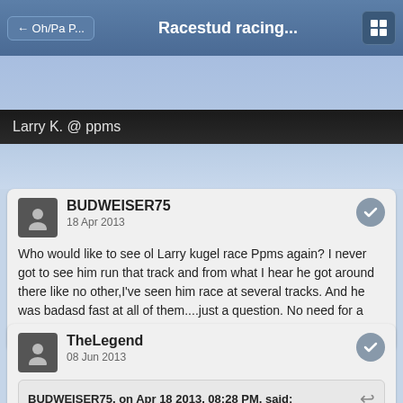← Oh/Pa P...   Racestud racing...
Larry K. @ ppms
BUDWEISER75
18 Apr 2013
Who would like to see ol Larry kugel race Ppms again? I never got to see him run that track and from what I hear he got around there like no other,I've seen him race at several tracks. And he was badasd fast at all of them....just a question. No need for a story
TheLegend
08 Jun 2013
BUDWEISER75, on Apr 18 2013, 08:28 PM, said:
Who would like to see ol Larry kugel race Ppms again? I never got to...